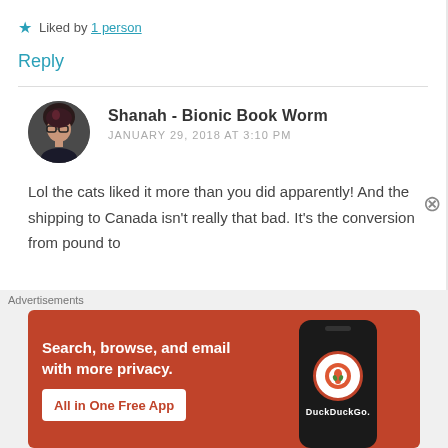★ Liked by 1 person
Reply
Shanah - Bionic Book Worm
JANUARY 29, 2018 AT 3:10 PM
Lol the cats liked it more than you did apparently! And the shipping to Canada isn't really that bad. It's the conversion from pound to
[Figure (illustration): DuckDuckGo advertisement banner with orange background showing 'Search, browse, and email with more privacy. All in One Free App' with a phone illustration and DuckDuckGo logo]